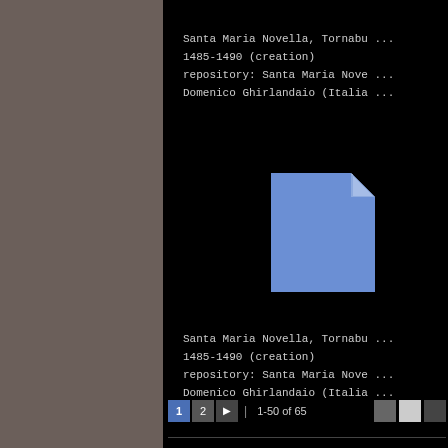[Figure (screenshot): Left sidebar with dark brownish-gray background]
Santa Maria Novella, Tornabu ...
1485-1490 (creation)
repository: Santa Maria Nove ...
Domenico Ghirlandaio (Italia ...
[Figure (illustration): Blue document/file icon with folded top-right corner on black background]
Santa Maria Novella, Tornabu ...
1485-1490 (creation)
repository: Santa Maria Nove ...
Domenico Ghirlandaio (Italia ...
1  2  ▶  |  1-50 of 65